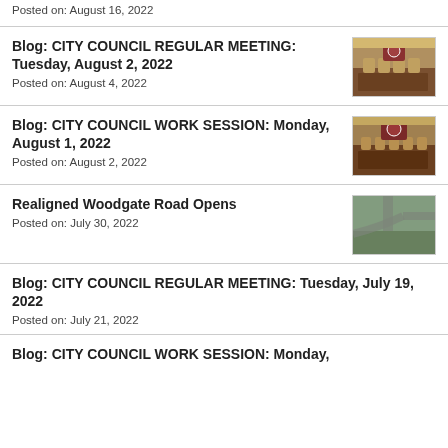Posted on: August 16, 2022
Blog: CITY COUNCIL REGULAR MEETING: Tuesday, August 2, 2022
Posted on: August 4, 2022
[Figure (photo): City council meeting room with people seated at a curved table, red seal visible on the wall]
Blog: CITY COUNCIL WORK SESSION: Monday, August 1, 2022
Posted on: August 2, 2022
[Figure (photo): City council work session room with people seated at a table]
Realigned Woodgate Road Opens
Posted on: July 30, 2022
[Figure (photo): Aerial view of a road intersection with a realigned road]
Blog: CITY COUNCIL REGULAR MEETING: Tuesday, July 19, 2022
Posted on: July 21, 2022
Blog: CITY COUNCIL WORK SESSION: Monday,